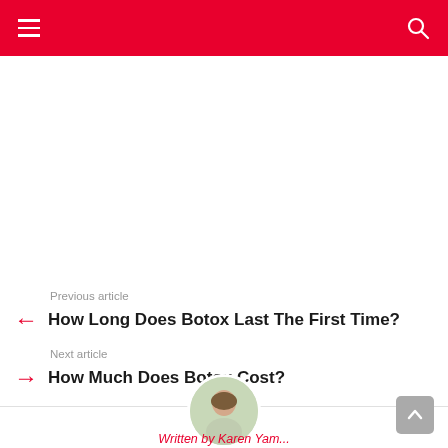Previous article
How Long Does Botox Last The First Time?
Next article
How Much Does Botox Cost?
[Figure (photo): Circular author avatar photo showing a person outdoors]
Written by Karen Yam...